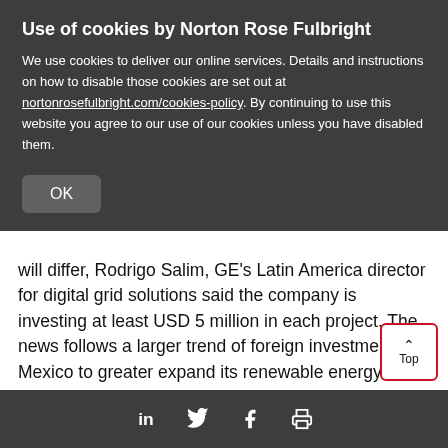Use of cookies by Norton Rose Fulbright
We use cookies to deliver our online services. Details and instructions on how to disable those cookies are set out at nortonrosefulbright.com/cookies-policy. By continuing to use this website you agree to our use of our cookies unless you have disabled them.
OK
will differ, Rodrigo Salim, GE's Latin America director for digital grid solutions said the company is investing at least USD 5 million in each project. The news follows a larger trend of foreign investment in Mexico to greater expand its renewable energy sector.
Chile: 62 MW commissioned at Cerro Domina
LinkedIn Twitter Facebook Print